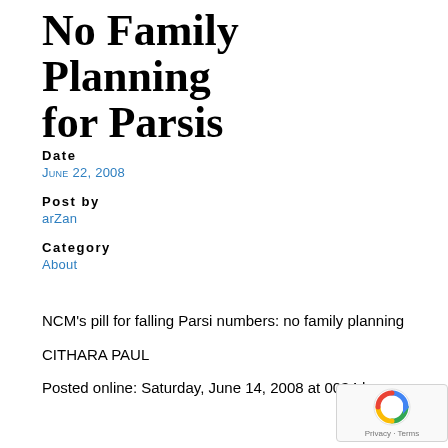No Family Planning for Parsis
Date
June 22, 2008
Post by
arZan
Category
About
NCM's pill for falling Parsi numbers: no family planning
CITHARA PAUL
Posted online: Saturday, June 14, 2008 at 0034 hrs